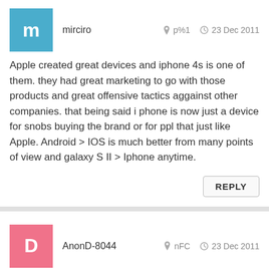m   mirciro   p%1   23 Dec 2011
Apple created great devices and iphone 4s is one of them. they had great marketing to go with those products and great offensive tactics aggainst other companies. that being said i phone is now just a device for snobs buying the brand or for ppl that just like Apple. Android > IOS is much better from many points of view and galaxy S II > Iphone anytime.
REPLY
D   AnonD-8044   nFC   23 Dec 2011
Dont know how you do gaming on full touchscreens you cant beat real buttons,,certainly would never buy a fone to use a games machine..I want productivity an that requires proper keyboard for input and so you can use the whole of the screen..Glad i am getting s/e xperia pro.